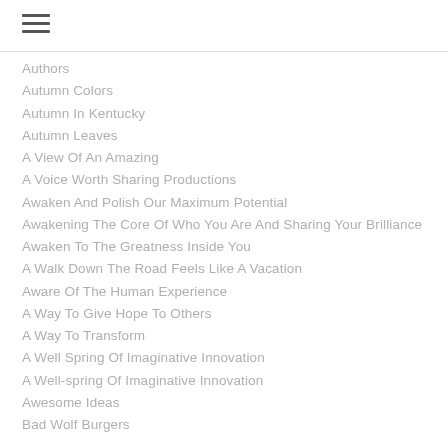Authors
Autumn Colors
Autumn In Kentucky
Autumn Leaves
A View Of An Amazing
A Voice Worth Sharing Productions
Awaken And Polish Our Maximum Potential
Awakening The Core Of Who You Are And Sharing Your Brilliance
Awaken To The Greatness Inside You
A Walk Down The Road Feels Like A Vacation
Aware Of The Human Experience
A Way To Give Hope To Others
A Way To Transform
A Well Spring Of Imaginative Innovation
A Well-spring Of Imaginative Innovation
Awesome Ideas
Bad Wolf Burgers